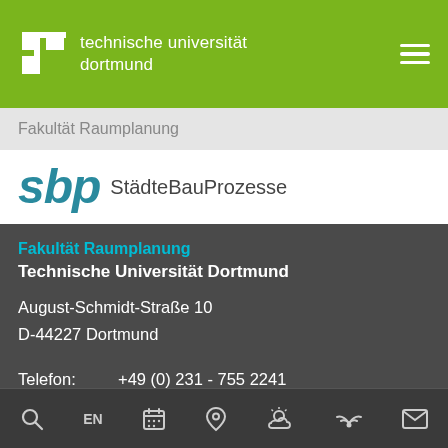[Figure (logo): TU Dortmund logo: white TU letterform icon and text 'technische universität dortmund' on green background with hamburger menu icon]
Fakultät Raumplanung
[Figure (logo): SBP StädteBauProzesse logo: teal italic sbp letters and full name]
Fakultät Raumplanung
Technische Universität Dortmund

August-Schmidt-Straße 10
D-44227 Dortmund

Telefon:    +49 (0) 231 - 755 2241
Fax:          +49 (0) 231 - 755 4396
E-Mail:  sbp.rp@tu-dortmund.de
[Figure (other): Social media icons: Instagram, YouTube, Facebook, RSS feed]
Search | EN | Calendar | Location | Weather | Accessibility | Contact